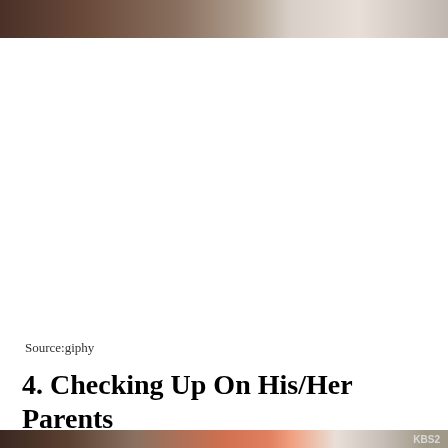[Figure (photo): Top portion of a photo showing a person, partially cropped at the top of the page]
Source:giphy
4. Checking Up On His/Her Parents
[Figure (photo): Bottom portion of a photo, partially visible at the bottom of the page, with a KBS2 watermark in the lower right corner]